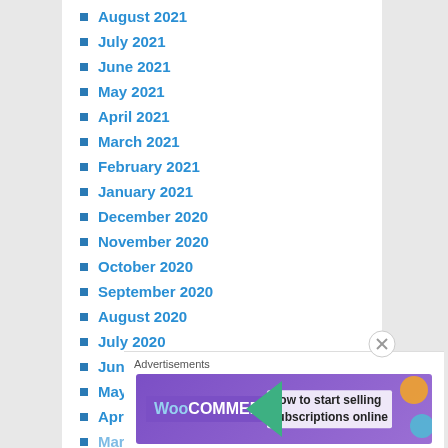August 2021
July 2021
June 2021
May 2021
April 2021
March 2021
February 2021
January 2021
December 2020
November 2020
October 2020
September 2020
August 2020
July 2020
June 2020
May 2020
April 2020
March 2020
Advertisements
[Figure (other): WooCommerce advertisement banner: How to start selling subscriptions online]